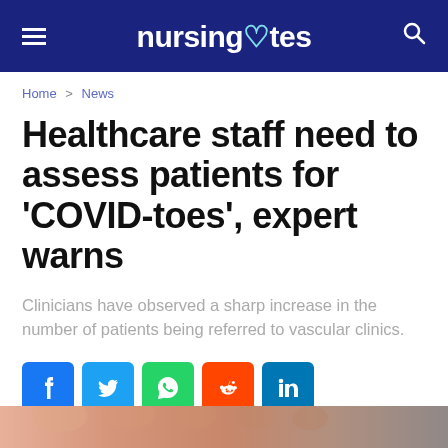nursingnotes
Home > News
Healthcare staff need to assess patients for 'COVID-toes', expert warns
Clinicians have observed a sharp increase in the number of patients being referred to vascular clinics.
[Figure (infographic): Social media sharing icons row: Facebook, Twitter, WhatsApp, Reddit, LinkedIn]
31 July 2020
[Figure (photo): Bottom strip showing a close-up photo of toes/feet with skin discoloration]